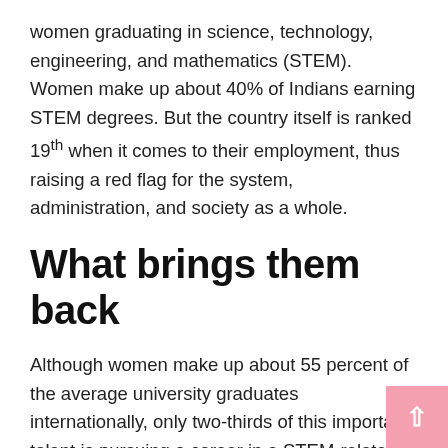women graduating in science, technology, engineering, and mathematics (STEM). Women make up about 40% of Indians earning STEM degrees. But the country itself is ranked 19th when it comes to their employment, thus raising a red flag for the system, administration, and society as a whole.
What brings them back
Although women make up about 55 percent of the average university graduates internationally, only two-thirds of this important talent is pursuing a career in a STEM-related field such as engineering, software